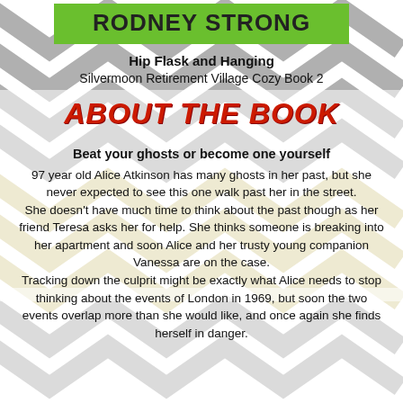[Figure (illustration): Chevron/zigzag pattern background in grey and gold/beige tones covering the full page]
RODNEY STRONG
Hip Flask and Hanging
Silvermoon Retirement Village Cozy Book 2
ABOUT THE BOOK
Beat your ghosts or become one yourself
97 year old Alice Atkinson has many ghosts in her past, but she never expected to see this one walk past her in the street.
She doesn't have much time to think about the past though as her friend Teresa asks her for help. She thinks someone is breaking into her apartment and soon Alice and her trusty young companion Vanessa are on the case.
Tracking down the culprit might be exactly what Alice needs to stop thinking about the events of London in 1969, but soon the two events overlap more than she would like, and once again she finds herself in danger.